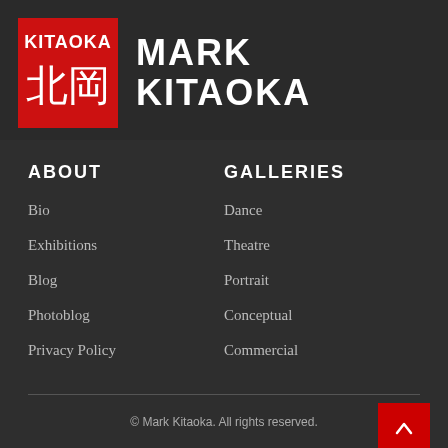[Figure (logo): Red square stamp logo with white text reading KITAOKA and two Japanese kanji characters 北岡]
MARK KITAOKA
ABOUT
GALLERIES
Bio
Dance
Exhibitions
Theatre
Blog
Portrait
Photoblog
Conceptual
Privacy Policy
Commercial
© Mark Kitaoka. All rights reserved.